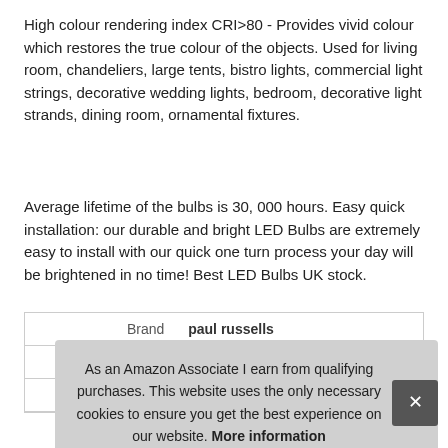High colour rendering index CRI>80 - Provides vivid colour which restores the true colour of the objects. Used for living room, chandeliers, large tents, bistro lights, commercial light strings, decorative wedding lights, bedroom, decorative light strands, dining room, ornamental fixtures.
Average lifetime of the bulbs is 30, 000 hours. Easy quick installation: our durable and bright LED Bulbs are extremely easy to install with our quick one turn process your day will be brightened in no time! Best LED Bulbs UK stock.
|  |  |
| --- | --- |
| Brand | paul russells |
| Ma |  |
| P |  |
As an Amazon Associate I earn from qualifying purchases. This website uses the only necessary cookies to ensure you get the best experience on our website. More information
More information